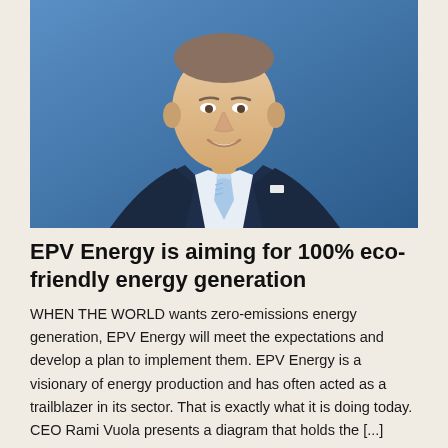[Figure (photo): Professional headshot of a man in a dark navy suit with a light blue striped tie, smiling against a blue background. The subject appears to be CEO Rami Vuola of EPV Energy.]
EPV Energy is aiming for 100% eco-friendly energy generation
WHEN THE WORLD wants zero-emissions energy generation, EPV Energy will meet the expectations and develop a plan to implement them. EPV Energy is a visionary of energy production and has often acted as a trailblazer in its sector. That is exactly what it is doing today. CEO Rami Vuola presents a diagram that holds the [...] READ MORE